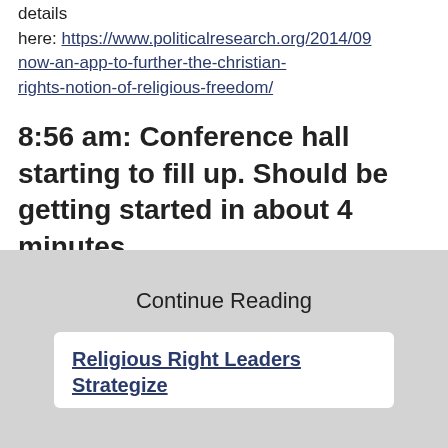details here: https://www.politicalresearch.org/2014/09/now-an-app-to-further-the-christian-rights-notion-of-religious-freedom/
8:56 am: Conference hall starting to fill up. Should be getting started in about 4 minutes.
Continue Reading
Religious Right Leaders Strategize